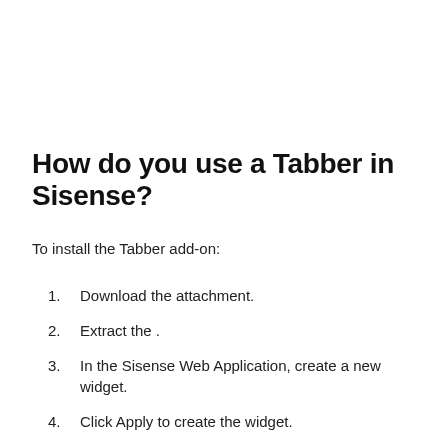How do you use a Tabber in Sisense?
To install the Tabber add-on:
1. Download the attachment.
2. Extract the .
3. In the Sisense Web Application, create a new widget.
4. Click Apply to create the widget.
5. Open the script editor of the Tabber widget.